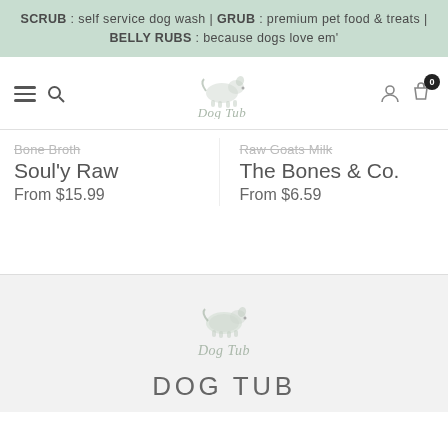SCRUB : self service dog wash | GRUB : premium pet food & treats | BELLY RUBS : because dogs love em'
[Figure (logo): Dog Tub logo with illustrated dog and cursive text]
Bone Broth (partially visible, strikethrough style)
Soul'y Raw
From $15.99
Raw Goats Milk (partially visible, strikethrough style)
The Bones & Co.
From $6.59
[Figure (logo): Dog Tub footer logo with illustrated dog and cursive text on light grey background]
DOG TUB